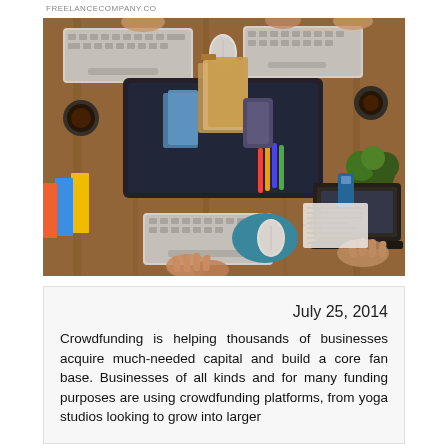FREELANCECOMPANY.CO
[Figure (photo): Overhead aerial view of a busy office desk with multiple people working on computers, laptops, and keyboards. Wooden table surface visible with files, coffee cups, plants, and office supplies scattered around.]
July 25, 2014
Crowdfunding is helping thousands of businesses acquire much-needed capital and build a core fan base. Businesses of all kinds and for many funding purposes are using crowdfunding platforms, from yoga studios looking to grow into larger